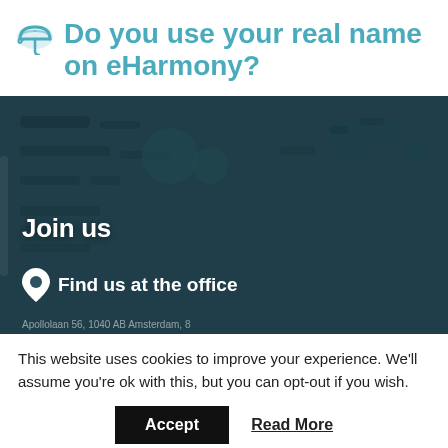Do you use your real name on eHarmony?
[Figure (screenshot): Dark teal map background with white text 'Join us' and a location pin icon with 'Find us at the office'. Partially visible address text at the bottom.]
This website uses cookies to improve your experience. We'll assume you're ok with this, but you can opt-out if you wish.
Accept   Read More